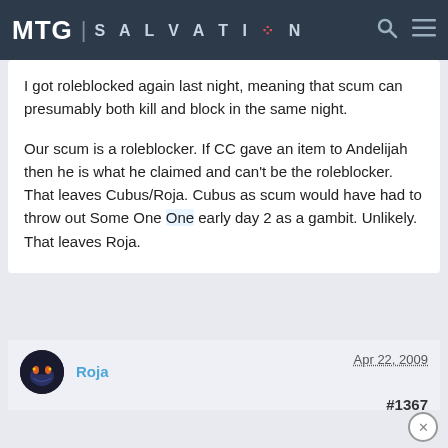MTG SALVATION
I got roleblocked again last night, meaning that scum can presumably both kill and block in the same night.

Our scum is a roleblocker. If CC gave an item to Andelijah then he is what he claimed and can't be the roleblocker. That leaves Cubus/Roja. Cubus as scum would have had to throw out Some One early day 2 as a gambit. Unlikely. That leaves Roja.
Roja
Apr 22, 2009
#1367
Member Details